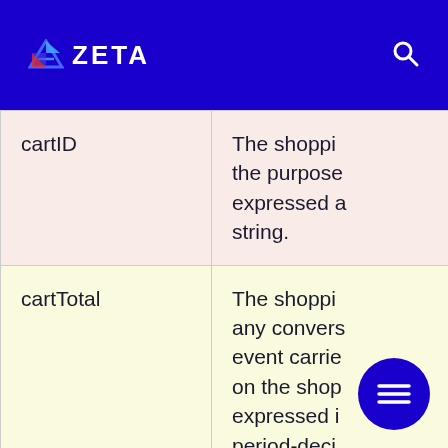ZETA
| Field | Description |
| --- | --- |
| cartID | The shoppi the purpose expressed a string. |
| cartTotal | The shoppi any convers event carrie on the shop expressed i period-deci |
| cartQty | The quan shopping conversion/ |